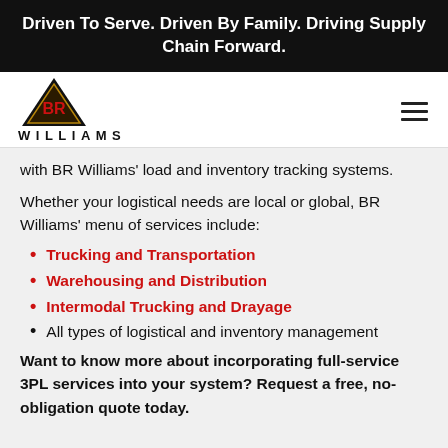Driven To Serve. Driven By Family. Driving Supply Chain Forward.
[Figure (logo): BR Williams logo: a black triangle with BR in red/gold lettering, with WILLIAMS text below in spaced caps]
with BR Williams’ load and inventory tracking systems.
Whether your logistical needs are local or global, BR Williams’ menu of services include:
Trucking and Transportation
Warehousing and Distribution
Intermodal Trucking and Drayage
All types of logistical and inventory management
Want to know more about incorporating full-service 3PL services into your system? Request a free, no-obligation quote today.